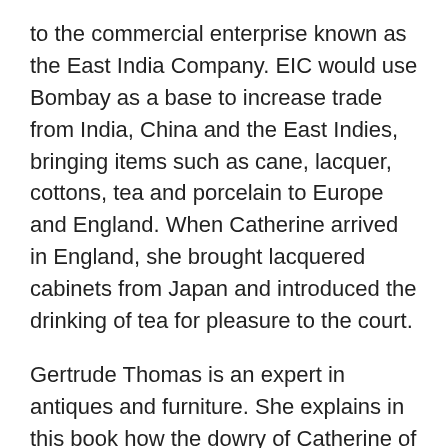to the commercial enterprise known as the East India Company.  EIC would use Bombay as a base to increase trade from India, China and the East Indies, bringing items such as cane, lacquer, cottons, tea and porcelain to Europe and England.  When Catherine arrived in England, she brought lacquered cabinets from Japan and introduced the drinking of tea for pleasure to the court.
Gertrude Thomas is an expert in antiques and furniture. She explains in this book how the dowry of Catherine of Braganza brought these different items to England and America and enhanced the quality of life for ordinary people.  For the most part, the people of England wore wool or linen from the Low Countries.  With the